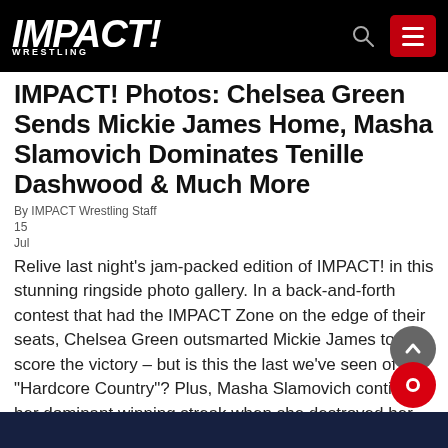IMPACT! WRESTLING
IMPACT! Photos: Chelsea Green Sends Mickie James Home, Masha Slamovich Dominates Tenille Dashwood & Much More
By IMPACT Wrestling Staff
15
Jul
Relive last night’s jam-packed edition of IMPACT! in this stunning ringside photo gallery. In a back-and-forth contest that had the IMPACT Zone on the edge of their seats, Chelsea Green outsmarted Mickie James to score the victory – but is this the last we’ve seen of “Hardcore Country”? Plus, Masha Slamovich continued her dominant winning streak when she destroyed her next victim, Tenille Dashwood, and so much more!
[Figure (photo): Dark background photo strip at the bottom of the page, partially visible wrestling event image]